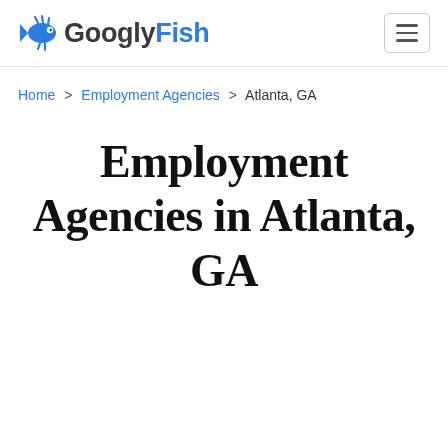GooglyFish
Home > Employment Agencies > Atlanta, GA
Employment Agencies in Atlanta, GA